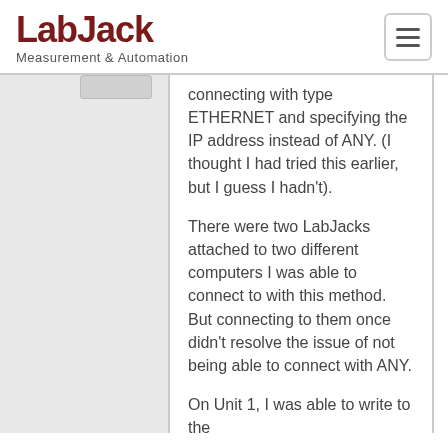LabJack Measurement & Automation
connecting with type ETHERNET and specifying the IP address instead of ANY. (I thought I had tried this earlier, but I guess I hadn't).
There were two LabJacks attached to two different computers I was able to connect to with this method. But connecting to them once didn't resolve the issue of not being able to connect with ANY.
On Unit 1, I was able to write to the ETHERNET_APPLY_SETTINGS address and then subsequent attempts to connect with ETHERNET/ANY succeeded.